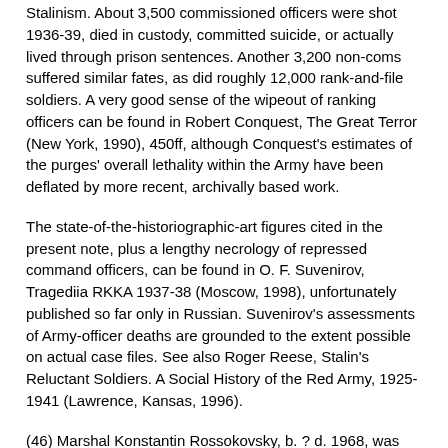Stalinism. About 3,500 commissioned officers were shot 1936-39, died in custody, committed suicide, or actually lived through prison sentences. Another 3,200 non-coms suffered similar fates, as did roughly 12,000 rank-and-file soldiers. A very good sense of the wipeout of ranking officers can be found in Robert Conquest, The Great Terror (New York, 1990), 450ff, although Conquest's estimates of the purges' overall lethality within the Army have been deflated by more recent, archivally based work.
The state-of-the-historiographic-art figures cited in the present note, plus a lengthy necrology of repressed command officers, can be found in O. F. Suvenirov, Tragediia RKKA 1937-38 (Moscow, 1998), unfortunately published so far only in Russian. Suvenirov's assessments of Army-officer deaths are grounded to the extent possible on actual case files. See also Roger Reese, Stalin's Reluctant Soldiers. A Social History of the Red Army, 1925-1941 (Lawrence, Kansas, 1996).
(46) Marshal Konstantin Rossokovsky, b. ? d. 1968, was arrested in 1937, sentenced to the Gulag, and released in time to re-assume command duties on the eve of the German attack. A close associate of the famous Georgy Zhukov, he commanded with great distinction during the war and afterward served for a time as Poland's Defense Minister.
Colonel-General Alexander Gorbatov, circa 1956 the commander of the Baltic Military District. When repressed he was second-in-command of the 6th Cavalry Corps.